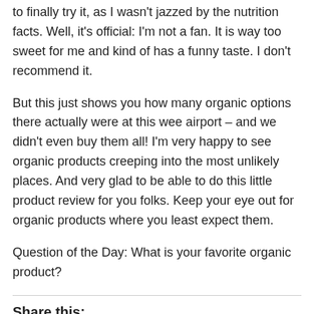to finally try it, as I wasn't jazzed by the nutrition facts. Well, it's official: I'm not a fan. It is way too sweet for me and kind of has a funny taste. I don't recommend it.
But this just shows you how many organic options there actually were at this wee airport – and we didn't even buy them all! I'm very happy to see organic products creeping into the most unlikely places. And very glad to be able to do this little product review for you folks. Keep your eye out for organic products where you least expect them.
Question of the Day: What is your favorite organic product?
Share this:
Twitter  Facebook  Email  Print  LinkedIn